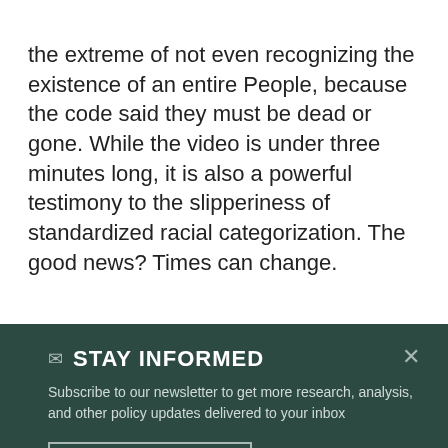the extreme of not even recognizing the existence of an entire People, because the code said they must be dead or gone. While the video is under three minutes long, it is also a powerful testimony to the slipperiness of standardized racial categorization. The good news? Times can change.
STAY INFORMED
Subscribe to our newsletter to get more research, analysis, and other policy updates delivered to your inbox
SIGN UP